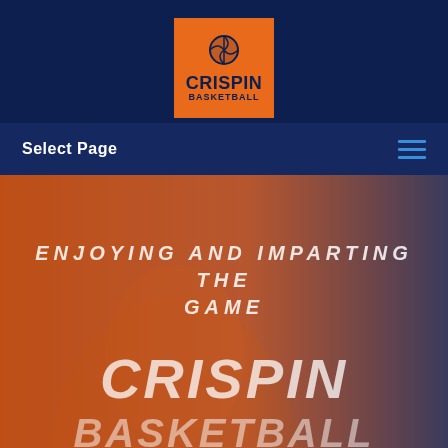[Figure (logo): Crispin Basketball logo: orange square background with basketball icon and text CRISPIN BASKETBALL in dark navy]
Select Page
[Figure (photo): Hero section with orange-tinted overlay photo of a person, with italic text 'ENJOYING AND IMPARTING THE GAME' and large text 'CRISPIN' and 'BASKETBALL' overlaid]